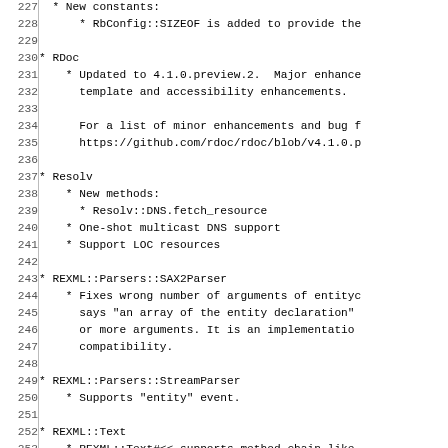227   * New constants:
228     * RbConfig::SIZEOF is added to provide the
229
230 * RDoc
231   * Updated to 4.1.0.preview.2. Major enhance
232     template and accessibility enhancements.
233
234     For a list of minor enhancements and bug f
235     https://github.com/rdoc/rdoc/blob/v4.1.0.p
236
237 * Resolv
238   * New methods:
239     * Resolv::DNS.fetch_resource
240   * One-shot multicast DNS support
241   * Support LOC resources
242
243 * REXML::Parsers::SAX2Parser
244   * Fixes wrong number of arguments of entityc
245     says "an array of the entity declaration"
246     or more arguments. It is an implementatio
247     compatibility.
248
249 * REXML::Parsers::StreamParser
250   * Supports "entity" event.
251
252 * REXML::Text
253   * REXML::Text#<< supports method chain like
254   * REXML::Text#<< supports not "raw" mode.
255
256 * Rinda::RingServer, Rinda::RingFinger